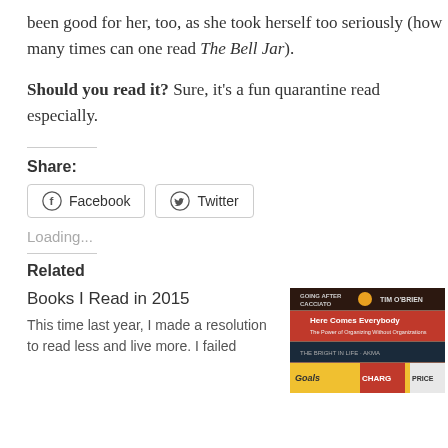been good for her, too, as she took herself too seriously (how many times can one read The Bell Jar).
Should you read it? Sure, it's a fun quarantine read especially.
Share:
[Figure (other): Facebook and Twitter share buttons]
Loading...
Related
Books I Read in 2015
This time last year, I made a resolution to read less and live more. I failed
[Figure (photo): Stack of books including Going After Cacciato by Tim O'Brien, Here Comes Everybody, and other titles]